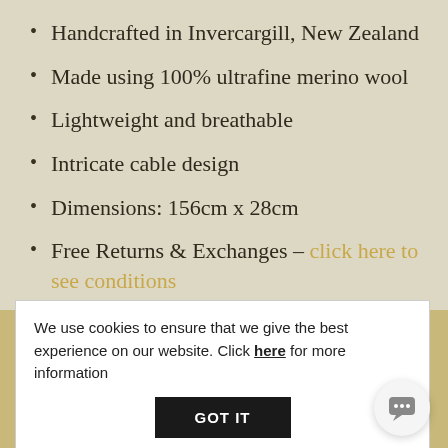Handcrafted in Invercargill, New Zealand
Made using 100% ultrafine merino wool
Lightweight and breathable
Intricate cable design
Dimensions: 156cm x 28cm
Free Returns & Exchanges – click here to see conditions
LEARN MORE ABOUT BOLT AND OUR PRODUCTS:
The history of BO...
We use cookies to ensure that we give the best experience on our website. Click here for more information
GOT IT